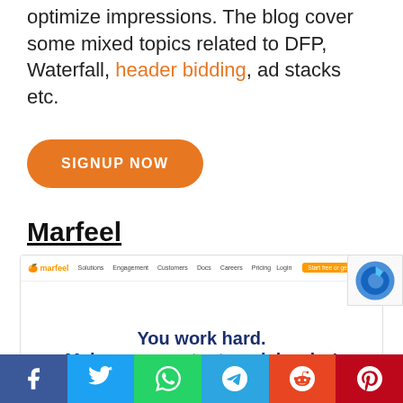optimize impressions. The blog cover some mixed topics related to DFP, Waterfall, header bidding, ad stacks etc.
SIGNUP NOW
Marfeel
[Figure (screenshot): Screenshot of Marfeel website homepage showing navigation bar and headline 'You work hard. Make your content work harder!' with subtext 'GROW YOUR LOYAL USERS']
Facebook | Twitter | WhatsApp | Telegram | Reddit | Pinterest